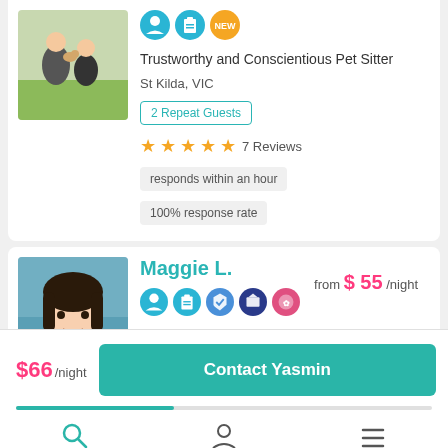[Figure (photo): Profile photo of pet sitter showing two people sitting on grass with a small dog]
Trustworthy and Conscientious Pet Sitter
St Kilda, VIC
2 Repeat Guests
7 Reviews
responds within an hour
100% response rate
[Figure (photo): Profile photo of Maggie L., young woman with dark hair]
Maggie L.
from $ 55 /night
Friendly and reliable pet carer!
$66/night
Contact Yasmin